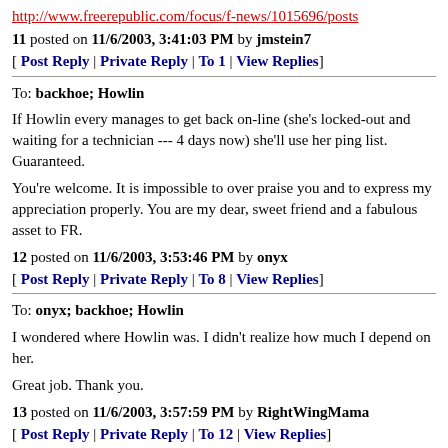http://www.freerepublic.com/focus/f-news/1015696/posts
11 posted on 11/6/2003, 3:41:03 PM by jmstein7
[ Post Reply | Private Reply | To 1 | View Replies]
To: backhoe; Howlin
If Howlin every manages to get back on-line (she's locked-out and waiting for a technician --- 4 days now) she'll use her ping list. Guaranteed.
You're welcome. It is impossible to over praise you and to express my appreciation properly. You are my dear, sweet friend and a fabulous asset to FR.
12 posted on 11/6/2003, 3:53:46 PM by onyx
[ Post Reply | Private Reply | To 8 | View Replies]
To: onyx; backhoe; Howlin
I wondered where Howlin was. I didn't realize how much I depend on her.
Great job. Thank you.
13 posted on 11/6/2003, 3:57:59 PM by RightWingMama
[ Post Reply | Private Reply | To 12 | View Replies]